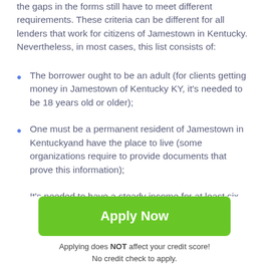the gaps in the forms still have to meet different requirements. These criteria can be different for all lenders that work for citizens of Jamestown in Kentucky. Nevertheless, in most cases, this list consists of:
The borrower ought to be an adult (for clients getting money in Jamestown of Kentucky KY, it's needed to be 18 years old or older);
One must be a permanent resident of Jamestown in Kentuckyand have the place to live (some organizations require to provide documents that prove this information);
It's needed to have a steady income for at least six
[Figure (other): Dark grey square button with white upward arrow, used as a scroll-to-top button]
Apply Now
Applying does NOT affect your credit score!
No credit check to apply.